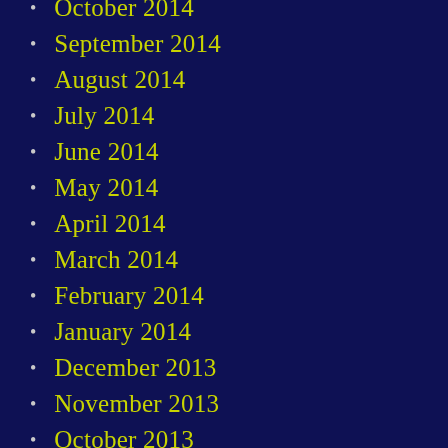October 2014
September 2014
August 2014
July 2014
June 2014
May 2014
April 2014
March 2014
February 2014
January 2014
December 2013
November 2013
October 2013
September 2013
August 2013
July 2013